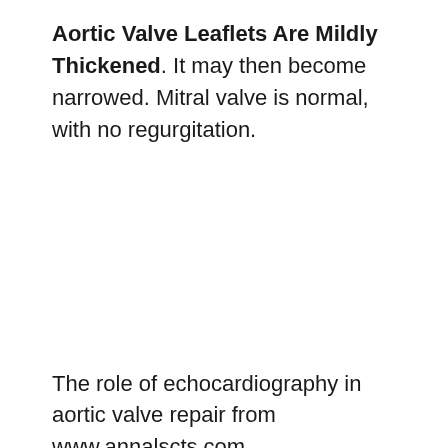Aortic Valve Leaflets Are Mildly Thickened. It may then become narrowed. Mitral valve is normal, with no regurgitation.
The role of echocardiography in aortic valve repair from www.annalscts.com
The valves are thickened, gelatinous, and have elongated and thinned chordae. Aortic